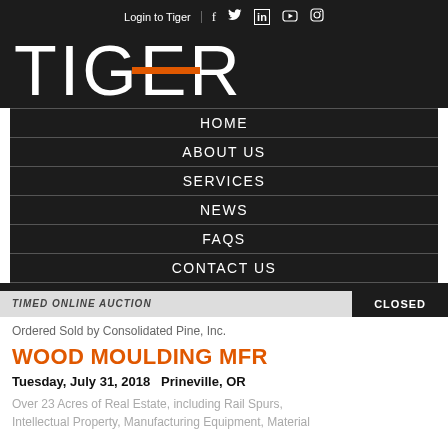Login to Tiger
[Figure (logo): Tiger company logo in white text on dark background with orange horizontal bar through the letter G]
HOME
ABOUT US
SERVICES
NEWS
FAQS
CONTACT US
TIMED ONLINE AUCTION
CLOSED
Ordered Sold by Consolidated Pine, Inc.
WOOD MOULDING MFR
Tuesday, July 31, 2018   Prineville, OR
Over 23 Acres of Real Estate, including Rail Spurs, Intellectual Property, Manufacturing Equipment, Material